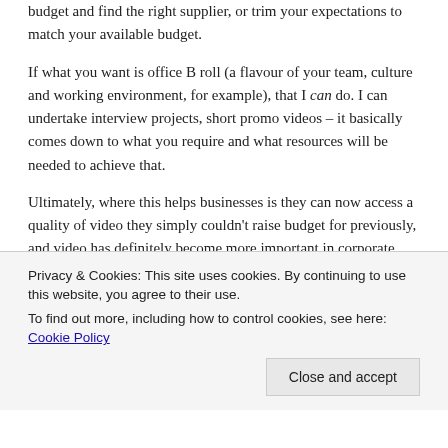budget and find the right supplier, or trim your expectations to match your available budget.
If what you want is office B roll (a flavour of your team, culture and working environment, for example), that I can do. I can undertake interview projects, short promo videos – it basically comes down to what you require and what resources will be needed to achieve that.
Ultimately, where this helps businesses is they can now access a quality of video they simply couldn't raise budget for previously, and video has definitely become more important in corporate communications than ever it was previously.
Privacy & Cookies: This site uses cookies. By continuing to use this website, you agree to their use.
To find out more, including how to control cookies, see here: Cookie Policy
Close and accept